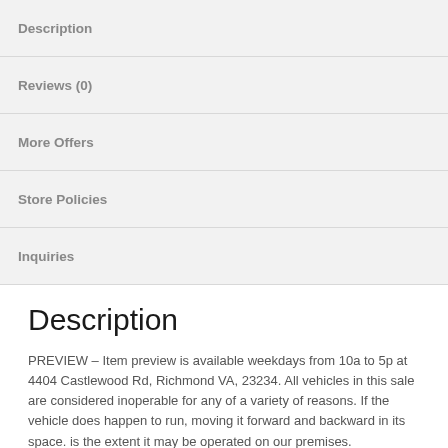Description
Reviews (0)
More Offers
Store Policies
Inquiries
Description
PREVIEW – Item preview is available weekdays from 10a to 5p at 4404 Castlewood Rd, Richmond VA, 23234. All vehicles in this sale are considered inoperable for any of a variety of reasons. If the vehicle does happen to run, moving it forward and backward in its space. is the extent it may be operated on our premises.
TERMS – All sales are final with no exchanges or returns.